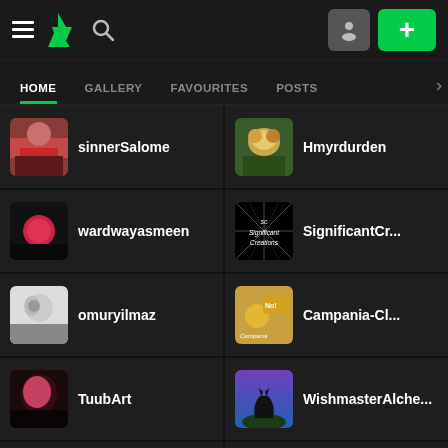DeviantArt mobile app navigation bar with hamburger menu, DA logo, search icon, profile button, and plus button
HOME | GALLERY | FAVOURITES | POSTS
sinnerSalome
Hmyrdurden
wardwayasmeen
SignificantCr...
omuryilmaz
Campania-Cl...
TuubArt
WishmasterAlche...
ForestGirl
AroundTheE...